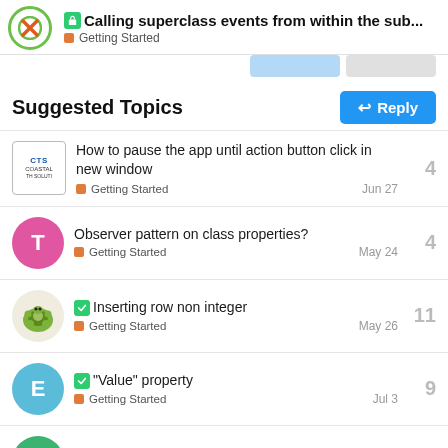Calling superclass events from within the sub... — Getting Started
Suggested Topics
How to pause the app until action button click in new window — Getting Started — Jun 27 — 4
Observer pattern on class properties? — Getting Started — May 24 — 4
Inserting row non integer — Getting Started — May 26 — 11
"Value" property — Getting Started — Jul 3 — 9
Windows 10 DLL — 4